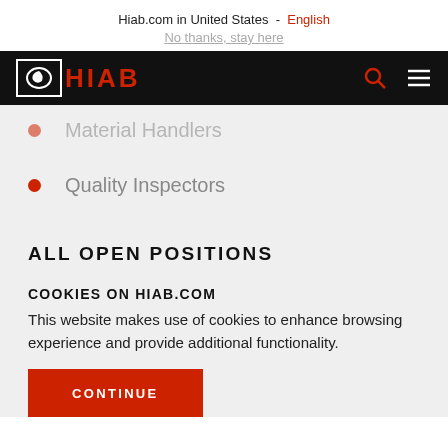Hiab.com in United States - English
No thanks, stay here
[Figure (logo): HIAB logo with icon on black navigation bar]
Material Handlers
Quality Inspectors
ALL OPEN POSITIONS
COOKIES ON HIAB.COM
This website makes use of cookies to enhance browsing experience and provide additional functionality.
CONTINUE